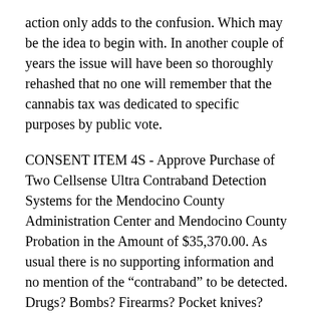action only adds to the confusion. Which may be the idea to begin with. In another couple of years the issue will have been so thoroughly rehashed that no one will remember that the cannabis tax was dedicated to specific purposes by public vote.
CONSENT ITEM 4S - Approve Purchase of Two Cellsense Ultra Contraband Detection Systems for the Mendocino County Administration Center and Mendocino County Probation in the Amount of $35,370.00. As usual there is no supporting information and no mention of the “contraband” to be detected. Drugs? Bombs? Firearms? Pocket knives? Airplane bottles of Jack Daniels? Tape recorders? Copies of the AVA? Sheriff Kendall himself? The explanation staff offers is “the County of Mendocino would like to add Contraband Detection Systems to the Administration Center and Probation to increase the security and safety of the staff and members of the